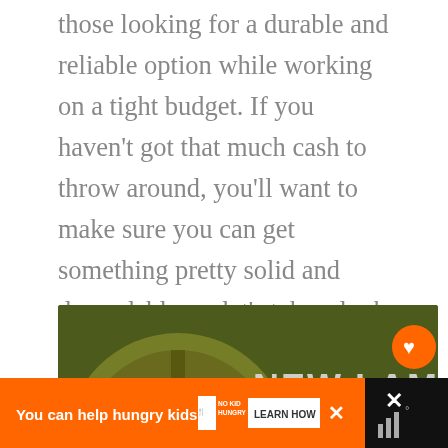those looking for a durable and reliable option while working on a tight budget. If you haven't got that much cash to throw around, you'll want to make sure you can get something pretty solid and dependable, so let's take a look and see if this is the reel you might be looking for.
[Figure (screenshot): YouTube video thumbnail for 'New Lamson Fly Reel Colors | Ins...' showing a golden fly fishing reel close-up with text overlay 'NEW LAMSON COLORS'. Includes YouTube play button, channel logo, What's Next panel for 'Best Fly Fishing...', heart and share social buttons.]
[Figure (screenshot): Orange advertisement banner: 'You can help hungry kids.' with No Kid Hungry logo and 'LEARN HOW' button. Close (X) button visible. Right side shows a dark panel with X icon.]